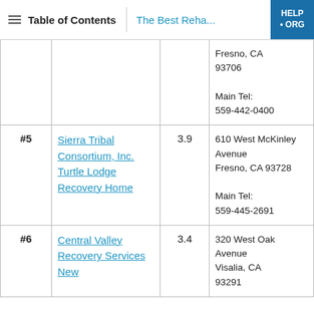Table of Contents | The Best Reha... | HELP-ORG
| Rank | Name | Rating | Address |
| --- | --- | --- | --- |
|  |  |  | Fresno, CA 93706
Main Tel: 559-442-0400 |
| #5 | Sierra Tribal Consortium, Inc. Turtle Lodge Recovery Home | 3.9 | 610 West McKinley Avenue
Fresno, CA 93728
Main Tel: 559-445-2691 |
| #6 | Central Valley Recovery Services New | 3.4 | 320 West Oak Avenue
Visalia, CA 93291 |